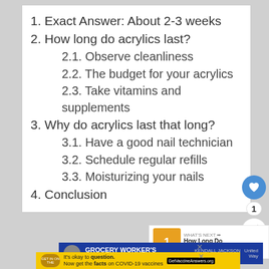1. Exact Answer: About 2-3 weeks
2. How long do acrylics last?
2.1. Observe cleanliness
2.2. The budget for your acrylics
2.3. Take vitamins and supplements
3. Why do acrylics last that long?
3.1. Have a good nail technician
3.2. Schedule regular refills
3.3. Moisturizing your nails
4. Conclusion
[Figure (screenshot): Sidebar with heart/like button showing count 1 and share button]
[Figure (screenshot): WHAT'S NEXT promo: How Long Do Canned...]
[Figure (screenshot): Grocery Worker's Appreciation Fund advertisement banner]
[Figure (screenshot): COVID-19 vaccine info ad: It's okay to question. Now get the facts on COVID-19 vaccines. GetVaccineAnswers.org]